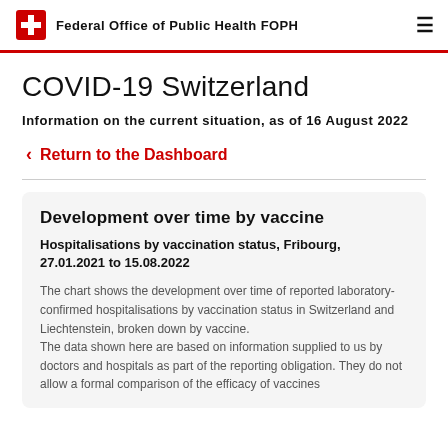Federal Office of Public Health FOPH
COVID-19 Switzerland
Information on the current situation, as of 16 August 2022
< Return to the Dashboard
Development over time by vaccine
Hospitalisations by vaccination status, Fribourg, 27.01.2021 to 15.08.2022
The chart shows the development over time of reported laboratory-confirmed hospitalisations by vaccination status in Switzerland and Liechtenstein, broken down by vaccine.
The data shown here are based on information supplied to us by doctors and hospitals as part of the reporting obligation. They do not allow a formal comparison of the efficacy of vaccines